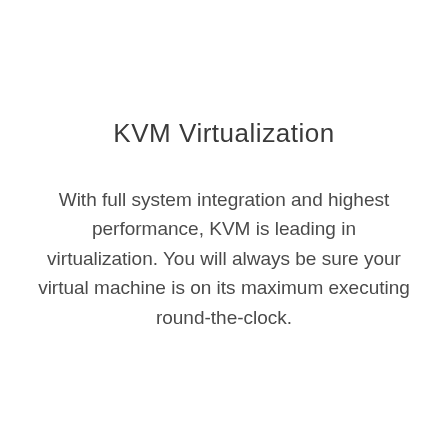KVM Virtualization
With full system integration and highest performance, KVM is leading in virtualization. You will always be sure your virtual machine is on its maximum executing round-the-clock.